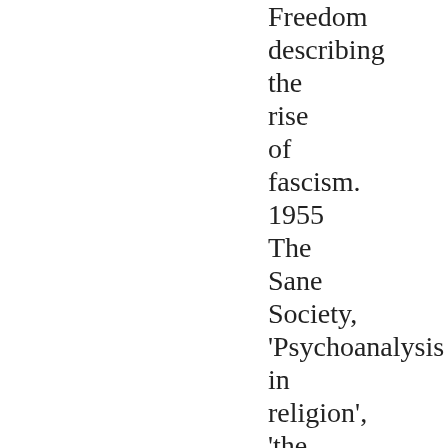Freedom describing the rise of fascism. 1955 The Sane Society, 'Psychoanalysis in religion', 'the Art of